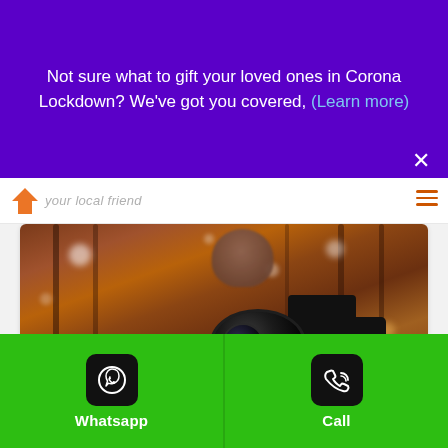Not sure what to gift your loved ones in Corona Lockdown? We've got you covered, (Learn more)
[Figure (screenshot): Website navbar with orange arrow logo and 'your local friend' brand text and hamburger menu icon]
[Figure (photo): Person holding a large camera/lens toward viewer in a forest with bokeh background]
How to hire the best professional photographer in Goa.
Lokaso  January 14, 2020
Whatsapp
Call